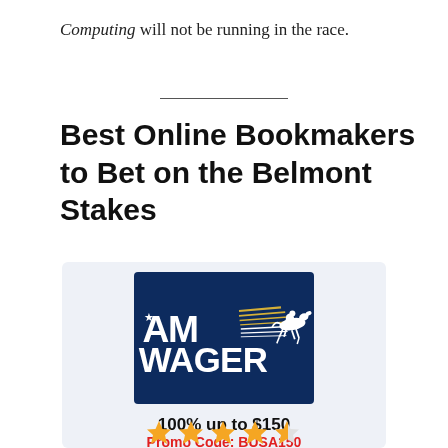Computing will not be running in the race.
Best Online Bookmakers to Bet on the Belmont Stakes
[Figure (logo): AMWager logo — dark navy blue background with bold white text reading AM WAGER, gold and white speed-line stripes and a silhouetted horse and jockey on the right, and a star on the left.]
100% up to $150
Promo Code: BUSA150
[Figure (other): 4.5 out of 5 star rating shown as orange stars]